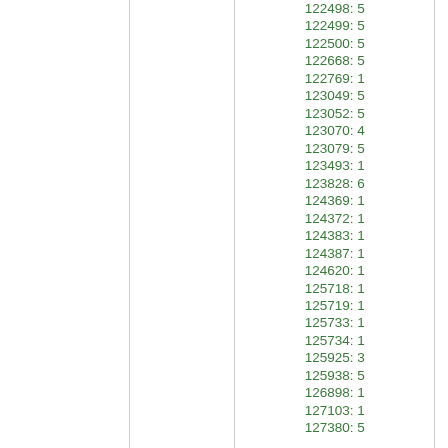122498: 5
122499: 5
122500: 5
122668: 5
122769: 1
123049: 5
123052: 5
123070: 4
123079: 5
123493: 1
123828: 6
124369: 1
124372: 1
124383: 1
124387: 1
124620: 1
125718: 1
125719: 1
125733: 1
125734: 1
125925: 3
125938: 5
126898: 1
127103: 1
127380: 5